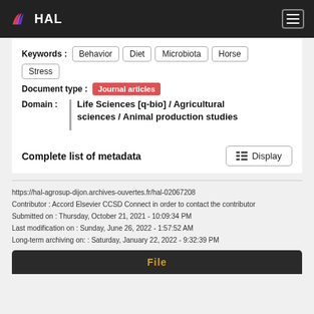HAL
Keywords : Behavior | Diet | Microbiota | Horse | Stress
Document type : Journal articles
Domain : Life Sciences [q-bio] / Agricultural sciences / Animal production studies
Complete list of metadata  Display
https://hal-agrosup-dijon.archives-ouvertes.fr/hal-02067208
Contributor : Accord Elsevier CCSD Connect in order to contact the contributor
Submitted on : Thursday, October 21, 2021 - 10:09:34 PM
Last modification on : Sunday, June 26, 2022 - 1:57:52 AM
Long-term archiving on: : Saturday, January 22, 2022 - 9:32:39 PM
File